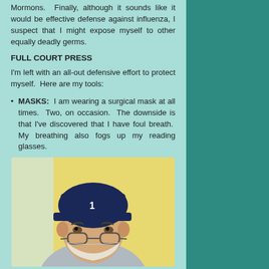Mormons.  Finally, although it sounds like it would be effective defense against influenza, I suspect that I might expose myself to other equally deadly germs.
FULL COURT PRESS
I'm left with an all-out defensive effort to protect myself.  Here are my tools:
MASKS:  I am wearing a surgical mask at all times.  Two, on occasion.  The downside is that I've discovered that I have foul breath.  My breathing also fogs up my reading glasses.
[Figure (photo): Person wearing a dark blue baseball cap and a surgical mask, photographed against a yellow background]